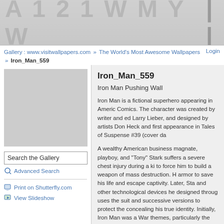[Figure (photo): Top banner image area showing faint watermark/text on light grey background, partial Iron Man related imagery]
Gallery : www.visitwallpapers.com » The World's Most Awesome Wallpapers » Iron_Man_559   Login
[Figure (photo): Left panel image placeholder for Iron Man 559 wallpaper thumbnail]
Search the Gallery
Advanced Search
Print on Shutterfly.com
View Slideshow
Iron_Man_559
Iron Man Pushing Wall
Iron Man is a fictional superhero appearing in American Comics. The character was created by writer and editor Larry Lieber, and designed by artists Don Heck and first appearance in Tales of Suspense #39 (cover da...
A wealthy American business magnate, playboy, and "Tony" Stark suffers a severe chest injury during a kidnapping to force him to build a weapon of mass destruction. He armor to save his life and escape captivity. Later, Stark and other technological devices he designed through uses the suit and successive versions to protect the concealing his true identity. Initially, Iron Man was a War themes, particularly the role of American technology...